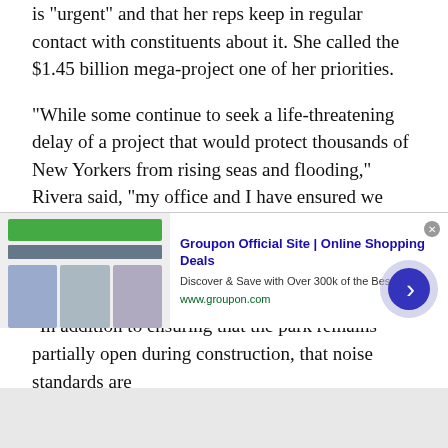is "urgent" and that her reps keep in regular contact with constituents about it. She called the $1.45 billion mega-project one of her priorities.
“While some continue to seek a life-threatening delay of a project that would protect thousands of New Yorkers from rising seas and flooding,” Rivera said, “my office and I have ensured we don’t risk further hurricane seasons without protection, while also pushing the city relentlessly on transparency and improvements to their plan.
“In addition to ensuring that the park remains partially open during construction, that noise standards are
[Figure (screenshot): Advertisement banner for Groupon Official Site | Online Shopping Deals. Shows Groupon logo, text 'Discover & Save with Over 300k of the Best Deals', URL www.groupon.com, navigation arrow circle on right, and close button (x).]